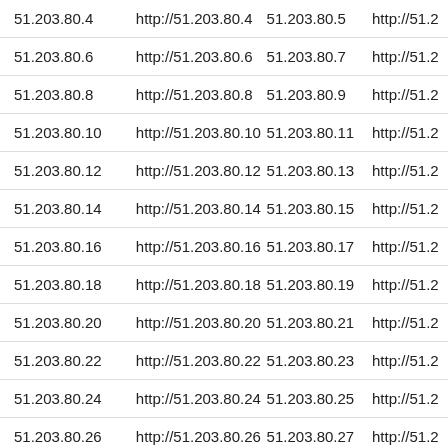| 51.203.80.4 | http://51.203.80.4 | 51.203.80.5 | http://51.2 |
| 51.203.80.6 | http://51.203.80.6 | 51.203.80.7 | http://51.2 |
| 51.203.80.8 | http://51.203.80.8 | 51.203.80.9 | http://51.2 |
| 51.203.80.10 | http://51.203.80.10 | 51.203.80.11 | http://51.2 |
| 51.203.80.12 | http://51.203.80.12 | 51.203.80.13 | http://51.2 |
| 51.203.80.14 | http://51.203.80.14 | 51.203.80.15 | http://51.2 |
| 51.203.80.16 | http://51.203.80.16 | 51.203.80.17 | http://51.2 |
| 51.203.80.18 | http://51.203.80.18 | 51.203.80.19 | http://51.2 |
| 51.203.80.20 | http://51.203.80.20 | 51.203.80.21 | http://51.2 |
| 51.203.80.22 | http://51.203.80.22 | 51.203.80.23 | http://51.2 |
| 51.203.80.24 | http://51.203.80.24 | 51.203.80.25 | http://51.2 |
| 51.203.80.26 | http://51.203.80.26 | 51.203.80.27 | http://51.2 |
| 51.203.80.28 | http://51.203.80.28 | 51.203.80.29 | http://51.2 |